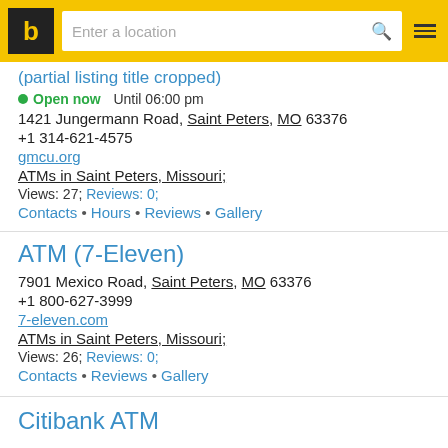b | Enter a location
Open now   Until 06:00 pm
1421 Jungermann Road, Saint Peters, MO 63376
+1 314-621-4575
gmcu.org
ATMs in Saint Peters, Missouri;
Views: 27; Reviews: 0;
Contacts • Hours • Reviews • Gallery
ATM (7-Eleven)
7901 Mexico Road, Saint Peters, MO 63376
+1 800-627-3999
7-eleven.com
ATMs in Saint Peters, Missouri;
Views: 26; Reviews: 0;
Contacts • Reviews • Gallery
Citibank ATM